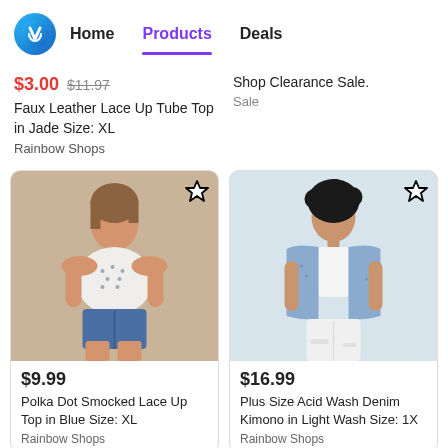Home | Products | Deals
$3.00  $11.97
Faux Leather Lace Up Tube Top in Jade Size: XL
Rainbow Shops
Shop Clearance Sale.
Sale
[Figure (photo): Woman wearing a white polka dot smocked lace up crop top with off-shoulder sleeves and denim shorts]
[Figure (photo): Plus size woman wearing a light blue acid wash denim kimono over a white tank top and white jeans]
$9.99
Polka Dot Smocked Lace Up Top in Blue Size: XL
Rainbow Shops
$16.99
Plus Size Acid Wash Denim Kimono in Light Wash Size: 1X
Rainbow Shops